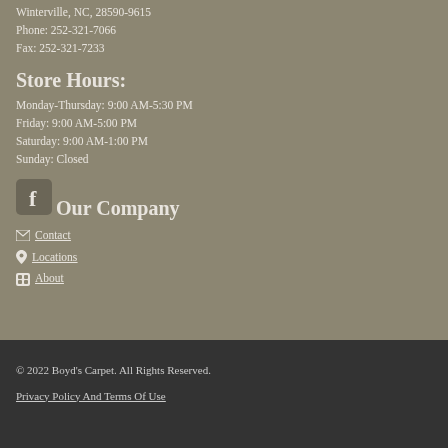Winterville, NC, 28590-9615
Phone: 252-321-7066
Fax: 252-321-7233
Store Hours:
Monday-Thursday: 9:00 AM-5:30 PM
Friday: 9:00 AM-5:00 PM
Saturday: 9:00 AM-1:00 PM
Sunday: Closed
[Figure (logo): Facebook logo icon, rounded square with white F]
Our Company
Contact
Locations
About
© 2022 Boyd's Carpet. All Rights Reserved.
Privacy Policy And Terms Of Use